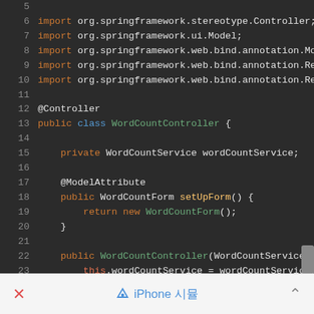[Figure (screenshot): Java source code screenshot in a dark IDE theme showing Spring MVC WordCountController class with import statements, @Controller annotation, @ModelAttribute method, and constructor. Lines 5-25 visible.]
× ♦ iPhone 시뮬 ^